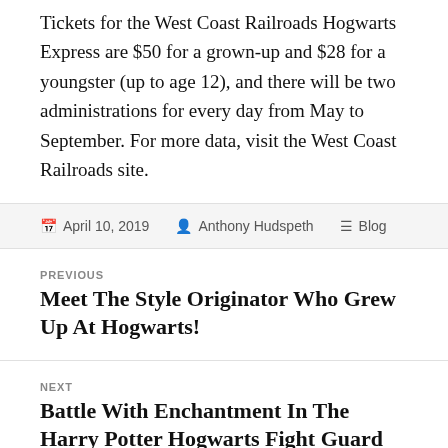Tickets for the West Coast Railroads Hogwarts Express are $50 for a grown-up and $28 for a youngster (up to age 12), and there will be two administrations for every day from May to September. For more data, visit the West Coast Railroads site.
April 10, 2019  Anthony Hudspeth  Blog
PREVIOUS
Meet The Style Originator Who Grew Up At Hogwarts!
NEXT
Battle With Enchantment In The Harry Potter Hogwarts Fight Guard Against The Dim Expressions Card Game